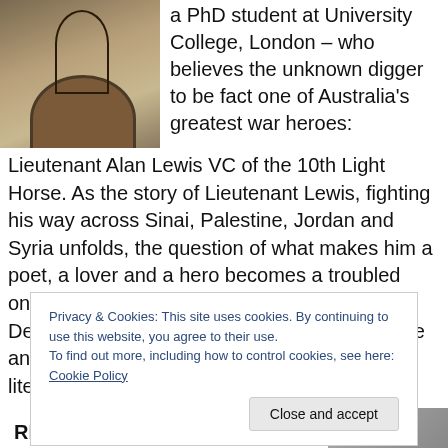[Figure (photo): Photo of a stone building with an arched entrance, ornate architectural details, taken from below.]
a PhD student at University College, London – who believes the unknown digger to be fact one of Australia's greatest war heroes: Lieutenant Alan Lewis VC of the 10th Light Horse. As the story of Lieutenant Lewis, fighting his way across Sinai, Palestine, Jordan and Syria unfolds, the question of what makes him a poet, a lover and a hero becomes a troubled one. Meanwhile, in the footnotes, scholar Matt Denton is fighting his own battles with romance and with academia as he attempts to rewrite literary history
Privacy & Cookies: This site uses cookies. By continuing to use this website, you agree to their use.
To find out more, including how to control cookies, see here: Cookie Policy
RELEASE DATE: 6 April